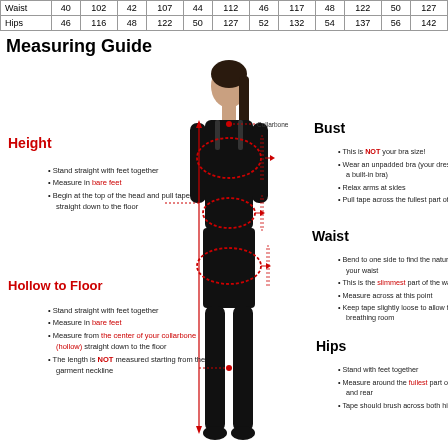|  | 40 | 102 | 42 | 107 | 44 | 112 | 46 | 117 | 48 | 122 | 50 | 127 |
| --- | --- | --- | --- | --- | --- | --- | --- | --- | --- | --- | --- | --- |
| Waist | 40 | 102 | 42 | 107 | 44 | 112 | 46 | 117 | 48 | 122 | 50 | 127 |
| Hips | 46 | 116 | 48 | 122 | 50 | 127 | 52 | 132 | 54 | 137 | 56 | 142 |
Measuring Guide
[Figure (illustration): Woman figure with red dashed ovals indicating bust, waist, and hip measurement points, and vertical red line for height/hollow-to-floor with arrows and labels for Collarbone]
Height
Stand straight with feet together
Measure in bare feet
Begin at the top of the head and pull tape straight down to the floor
Hollow to Floor
Stand straight with feet together
Measure in bare feet
Measure from the center of your collarbone (hollow) straight down to the floor
The length is NOT measured starting from the garment neckline
Bust
This is NOT your bra size!
Wear an unpadded bra (your dress will have a built-in bra)
Relax arms at sides
Pull tape across the fullest part of the bust
Waist
Bend to one side to find the natural crease of your waist
This is the slimmest part of the waist
Measure across at this point
Keep tape slightly loose to allow for breathing room
Hips
Stand with feet together
Measure around the fullest part of the hips and rear
Tape should brush across both hipbones